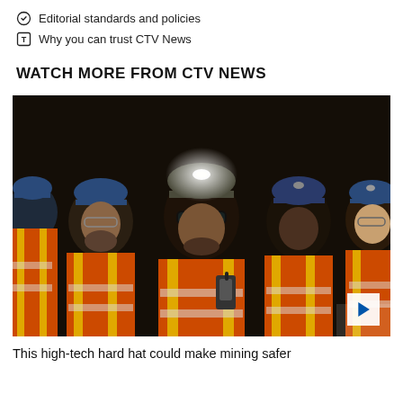Editorial standards and policies
Why you can trust CTV News
WATCH MORE FROM CTV NEWS
[Figure (photo): Five miners in orange high-visibility jackets and blue hard hats standing in a dark underground mine. The central figure wears a high-tech hard hat with a bright LED headlamp and augmented reality visor.]
This high-tech hard hat could make mining safer